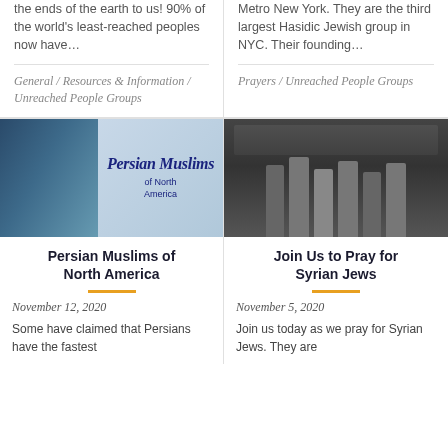the ends of the earth to us! 90% of the world's least-reached peoples now have...
Metro New York. They are the third largest Hasidic Jewish group in NYC. Their founding...
General / Resources & Information / Unreached People Groups
Prayers / Unreached People Groups
[Figure (illustration): Persian Muslims of North America - woman in blue hijab with text overlay on patterned background]
[Figure (photo): Black and white photo of a group of men seated outdoors]
Persian Muslims of North America
Join Us to Pray for Syrian Jews
November 12, 2020
November 5, 2020
Some have claimed that Persians have the fastest
Join us today as we pray for Syrian Jews. They are